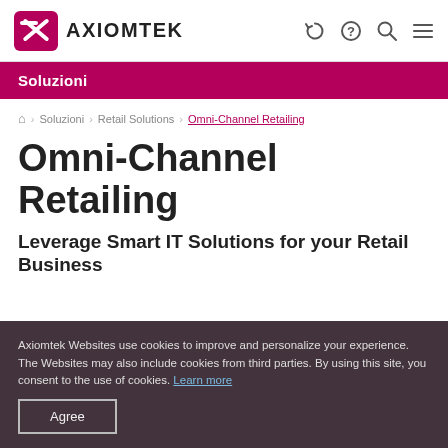AXIOMTEK
Soluzioni
Home > Soluzioni > Retail Solutions > Omni-Channel Retailing
Omni-Channel Retailing
Leverage Smart IT Solutions for your Retail Business
Axiomtek Websites use cookies to improve and personalize your experience. The Websites may also include cookies from third parties. By using this site, you consent to the use of cookies. Learn more
Agree